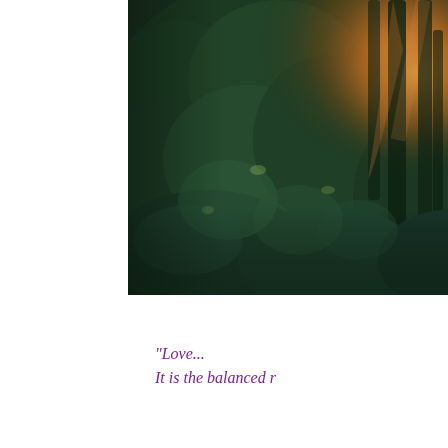[Figure (illustration): A painterly forest scene with dark green foliage, trees, and warm golden-orange light filtering through on the right side. The painting has a romantic, impressionistic style with lush vegetation in deep greens and a glowing amber/orange light source visible through the trees on the upper right.]
"Love... It is the balanced r